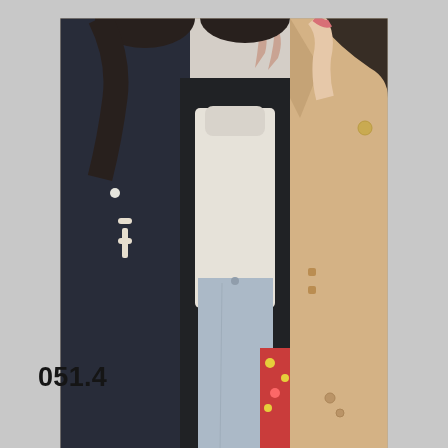[Figure (photo): A selfie-style photo of three young women posing together indoors. The leftmost person wears a dark navy duffle coat. The middle person wears a white turtleneck sweater and light blue jeans, making a peace sign. The rightmost person wears a beige/camel trench coat. All three are close together facing the camera.]
051.4